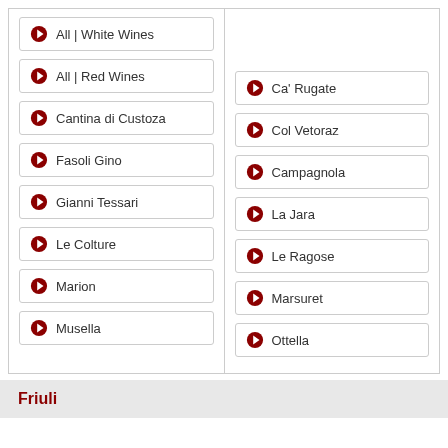All | White Wines
All | Red Wines
Ca' Rugate
Cantina di Custoza
Col Vetoraz
Fasoli Gino
Campagnola
Gianni Tessari
La Jara
Le Colture
Le Ragose
Marion
Marsuret
Musella
Ottella
Friuli